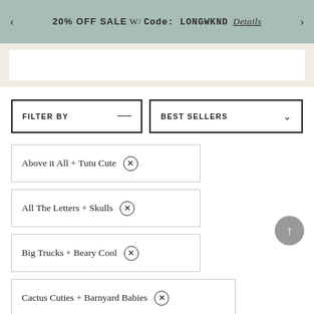20% OFF SALE W/ Code: LONGWKND  Details
[Figure (other): White rectangular image placeholder area on beige background]
FILTER BY
BEST SELLERS
Above it All + Tutu Cute ×
All The Letters + Skulls ×
Big Trucks + Beary Cool ×
Cactus Cuties + Barnyard Babies ×